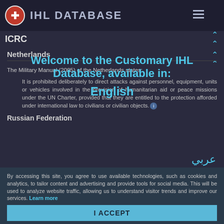IHL DATABASE — ICRC
Netherlands
The Military Manual (2005) of the Netherlands states:
It is prohibited deliberately to direct attacks against personnel, equipment, units or vehicles involved in the provision of humanitarian aid or peace missions under the UN Charter, provided that they are entitled to the protection afforded under international law to civilians or civilian objects.
Welcome to the Customary IHL Database, available in:
English
Russian Federation
عربي
By accessing this site, you agree to use available technologies, such as cookies and analytics, to tailor content and advertising and provide tools for social media. This will be used to analyze website traffic, allowing us to understand visitor trends and improve our services. Learn more
I ACCEPT